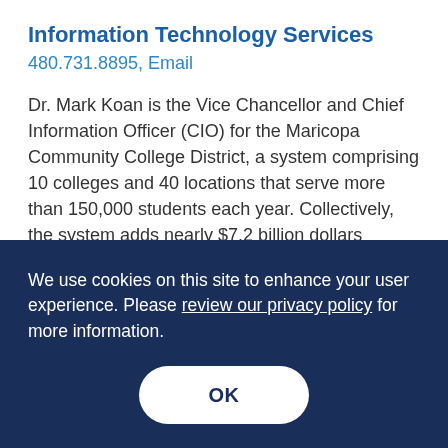Information Technology Services
480.731.8895, Email
Dr. Mark Koan is the Vice Chancellor and Chief Information Officer (CIO) for the Maricopa Community College District, a system comprising 10 colleges and 40 locations that serve more than 150,000 students each year. Collectively, the system adds nearly $7.2 billion dollars annually to the region’s economy.
We use cookies on this site to enhance your user experience. Please review our privacy policy for more information.
OK